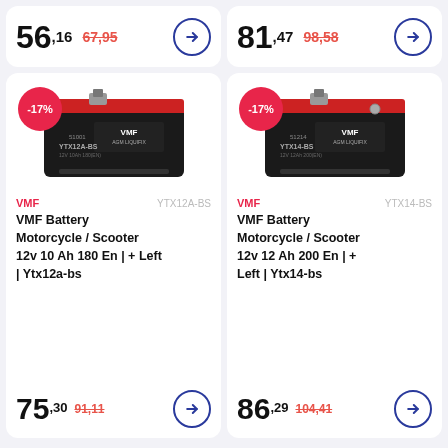56,16  67,95
81,47  98,58
[Figure (photo): VMF battery YTX12A-BS motorcycle/scooter battery, black, with -17% red badge]
VMF   YTX12A-BS
VMF Battery Motorcycle / Scooter 12v 10 Ah 180 En | + Left | Ytx12a-bs
75,30  91,11
[Figure (photo): VMF battery YTX14-BS motorcycle/scooter battery, black, with -17% red badge]
VMF   YTX14-BS
VMF Battery Motorcycle / Scooter 12v 12 Ah 200 En | + Left | Ytx14-bs
86,29  104,41